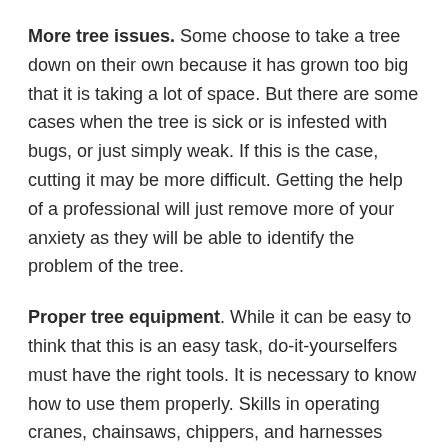More tree issues. Some choose to take a tree down on their own because it has grown too big that it is taking a lot of space. But there are some cases when the tree is sick or is infested with bugs, or just simply weak. If this is the case, cutting it may be more difficult. Getting the help of a professional will just remove more of your anxiety as they will be able to identify the problem of the tree.
Proper tree equipment. While it can be easy to think that this is an easy task, do-it-yourselfers must have the right tools. It is necessary to know how to use them properly. Skills in operating cranes, chainsaws, chippers, and harnesses may take some time to become accustomed to the tools, especially if you haven't used them before.
Expertise. Trained arborists mostly have the right tools while being experienced in using the equipment correctly. They will be able to...